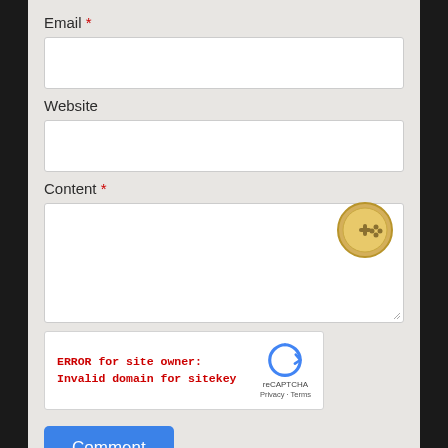Email *
Website
Content *
[Figure (screenshot): reCAPTCHA widget showing ERROR for site owner: Invalid domain for sitekey, with reCAPTCHA logo and Privacy/Terms links]
[Figure (illustration): Golden game controller icon]
Comment
Thank you for commenting. Please leave constructive comments, respect other people's opinions, and stay on